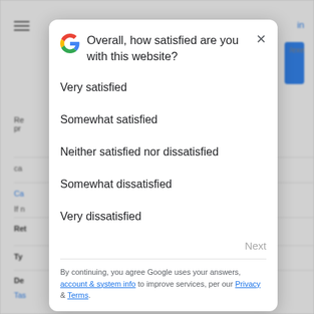[Figure (screenshot): Background webpage partially visible behind a modal dialog]
Overall, how satisfied are you with this website?
Very satisfied
Somewhat satisfied
Neither satisfied nor dissatisfied
Somewhat dissatisfied
Very dissatisfied
Next
By continuing, you agree Google uses your answers, account & system info to improve services, per our Privacy & Terms.